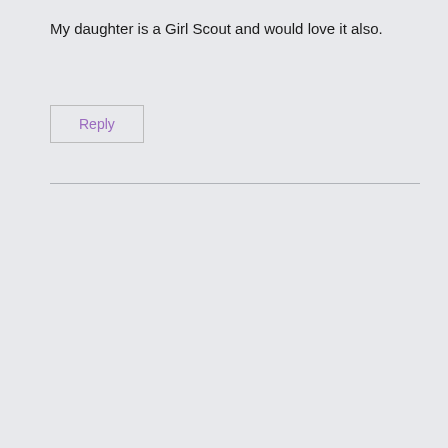My daughter is a Girl Scout and would love it also.
Reply